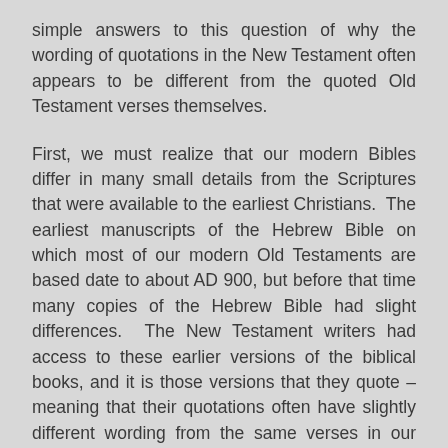simple answers to this question of why the wording of quotations in the New Testament often appears to be different from the quoted Old Testament verses themselves.
First, we must realize that our modern Bibles differ in many small details from the Scriptures that were available to the earliest Christians. The earliest manuscripts of the Hebrew Bible on which most of our modern Old Testaments are based date to about AD 900, but before that time many copies of the Hebrew Bible had slight differences. The New Testament writers had access to these earlier versions of the biblical books, and it is those versions that they quote – meaning that their quotations often have slightly different wording from the same verses in our modern Bibles.